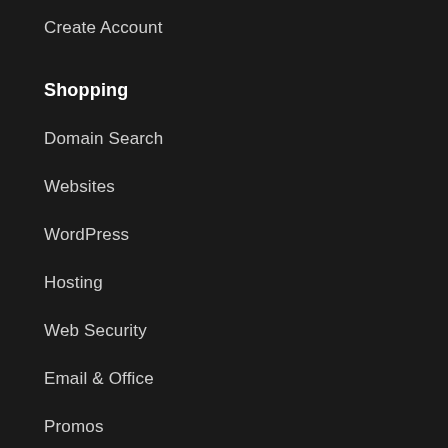Create Account
Shopping
Domain Search
Websites
WordPress
Hosting
Web Security
Email & Office
Promos